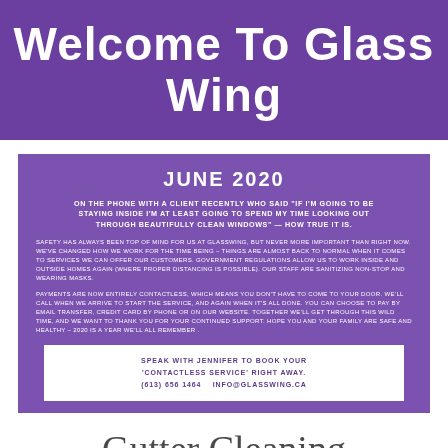Welcome To Glass Wing
JUNE 2020
ON THE PHONE WITH A CLIENT RECENTLY WHO SAID "IF I'M GOING TO BE STAYING INSIDE I'M AT LEAST GOING TO SPEND MY TIME LOOKING OUT THROUGH BEAUTIFULLY CLEAN WINDOWS" — HOW TRUE IT IS.
SAFETY HAS ALWAYS BEEN TOP OF MIND FOR US AT GLASSWING, BUT NEVER MORE IMPORTANT THAN RIGHT NOW. WE'VE CHANGED HOW WE WORK FOR THE TIME BEING – THINGS ARE ALMOST BACK TO NORMAL WHEN IT COMES TO SERVICES WE CAN OFFER OUR CUSTOMERS. GOVERNMENT REGULATIONS ALLOW US TO WORK INSIDE AND OUTSIDE HOMES AGAIN (WHERE PROPER DISTANCING IS POSSIBLE). OUR STAFF ARE SANITIZING NON-STOP AND WEARING MASKS.
PAYMENTS ARE NOW ENTIRELY CONTACTLESS, WHICH MEANS YOU DON'T HAVE TO COME TO YOUR DOOR. WE'LL CALL WHEN WE ARRIVE TO START THE SERVICE, AND AGAIN WHEN IT'S ALL DONE. YOU CAN CHOOSE TO PAY BY EMAIL TRANSFER, CREDIT CARD BY PHONE OR ON OUR WEBSITE. TOGETHER WE'LL GET THROUGH THIS WILD TIME, AND WE WANT TO THANK YOU FOR YOUR CONTINUED SUPPORT. HOPE YOU AND YOUR FAMILY ARE SAFE AND HEALTHY – 2020 IS A YEAR WE'LL ALL REMEMBER .
SPEAK WITH JENNIFER TO BOOK YOUR 'CONTACTLESS SERVICE' RIGHT AWAY. (613) 656 1464   INFO@GLASSWING.CA
Gutter Cleaning